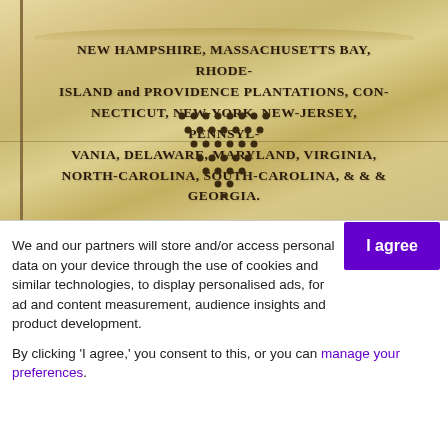[Figure (photo): Scanned image of an aged parchment document showing colonial American states listed in decorative old-style typography: NEW HAMPSHIRE, MASSACHUSETTS BAY, RHODE-ISLAND and PROVIDENCE PLANTATIONS, CONNECTICUT, NEW-YORK, NEW-JERSEY, PENNSYLVANIA, DELAWARE, MARYLAND, VIRGINIA, NORTH-CAROLINA, SOUTH-CAROLINA, and GEORGIA. Below the text is a decorative triangular pattern of dots.]
We and our partners will store and/or access personal data on your device through the use of cookies and similar technologies, to display personalised ads, for ad and content measurement, audience insights and product development.
By clicking 'I agree,' you consent to this, or you can manage your preferences.